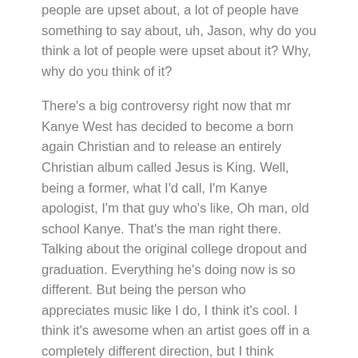people are upset about, a lot of people have something to say about, uh, Jason, why do you think a lot of people were upset about it? Why, why do you think of it?
There's a big controversy right now that mr Kanye West has decided to become a born again Christian and to release an entirely Christian album called Jesus is King. Well, being a former, what I'd call, I'm Kanye apologist, I'm that guy who's like, Oh man, old school Kanye. That's the man right there. Talking about the original college dropout and graduation. Everything he's doing now is so different. But being the person who appreciates music like I do, I think it's cool. I think it's awesome when an artist goes off in a completely different direction, but I think people get mad because it's not what they're used to and it's not what he's quote unquote supposed to be. W what is he supposed to be in your opinion to them? He's the braggadocious Kanye who wants to, you know, run up on stage and still somebody's spotlight and make crazy clothing and just rap about, you know, overall ego and everything like that.